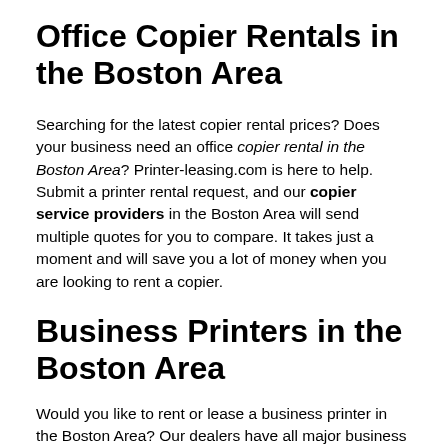Office Copier Rentals in the Boston Area
Searching for the latest copier rental prices? Does your business need an office copier rental in the Boston Area? Printer-leasing.com is here to help. Submit a printer rental request, and our copier service providers in the Boston Area will send multiple quotes for you to compare. It takes just a moment and will save you a lot of money when you are looking to rent a copier.
Business Printers in the Boston Area
Would you like to rent or lease a business printer in the Boston Area? Our dealers have all major business copier brands in stock, and we look